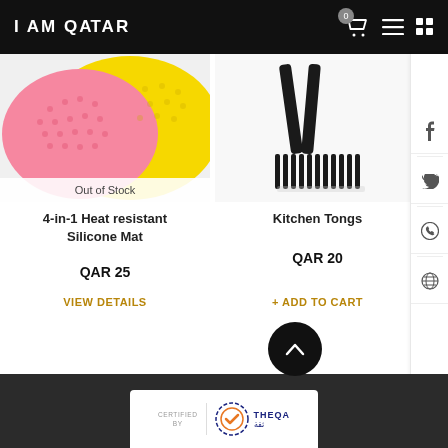I AM QATAR
[Figure (photo): Pink and yellow silicone heat resistant mats, overlapping, with Out of Stock label]
Out of Stock
4-in-1 Heat resistant Silicone Mat
QAR 25
VIEW DETAILS
[Figure (photo): Black kitchen tongs on white background]
Kitchen Tongs
QAR 20
+ ADD TO CART
[Figure (logo): THEQA certification badge with CERTIFIED BY text and checkmark logo]